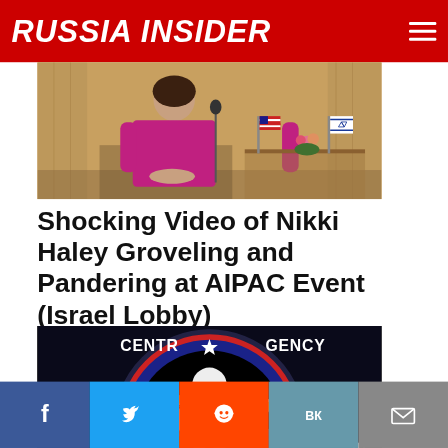RUSSIA INSIDER
[Figure (photo): Woman in pink/magenta outfit seated, with American and Israeli flags on a table in background]
Shocking Video of Nikki Haley Groveling and Pandering at AIPAC Event (Israel Lobby)
Louis Heyward 🔥 42,639 💬 Comments
[Figure (logo): Central Intelligence Agency style seal/logo with eagle, lightning bolt, globe, and text KNOWLEDGE STEALTH INNOVATION]
[Figure (other): Social share bar with Facebook, Twitter, Reddit, VK, and Email buttons]